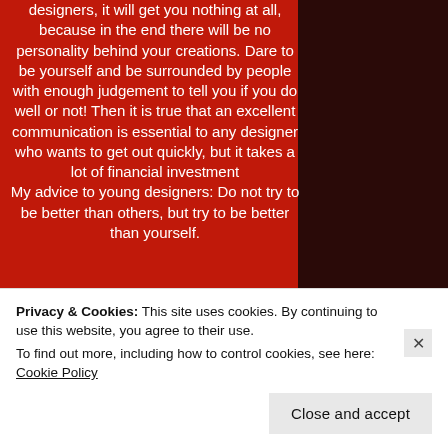designers, it will get you nothing at all, because in the end there will be no personality behind your creations. Dare to be yourself and be surrounded by people with enough judgement to tell you if you do well or not! Then it is true that an excellent communication is essential to any designer who wants to get out quickly, but it takes a lot of financial investment
My advice to young designers: Do not try to be better than others, but try to be better than yourself.
[Figure (photo): A woman in a dark dress with white gloves and dark hair against a white background]
Privacy & Cookies: This site uses cookies. By continuing to use this website, you agree to their use.
To find out more, including how to control cookies, see here: Cookie Policy